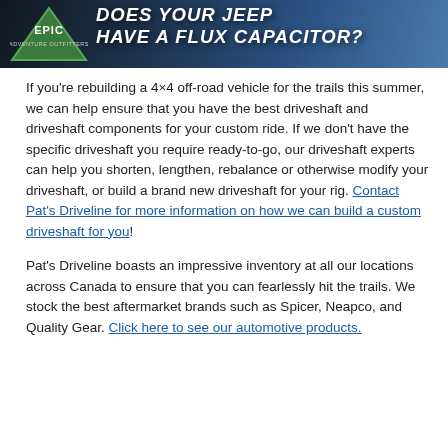[Figure (illustration): Epic Adventure Outfitters banner ad with text 'DOES YOUR JEEP HAVE A FLUX CAPACITOR?' over a dark off-road background]
If you're rebuilding a 4×4 off-road vehicle for the trails this summer, we can help ensure that you have the best driveshaft and driveshaft components for your custom ride. If we don't have the specific driveshaft you require ready-to-go, our driveshaft experts can help you shorten, lengthen, rebalance or otherwise modify your driveshaft, or build a brand new driveshaft for your rig. Contact Pat's Driveline for more information on how we can build a custom driveshaft for you!
Pat's Driveline boasts an impressive inventory at all our locations across Canada to ensure that you can fearlessly hit the trails. We stock the best aftermarket brands such as Spicer, Neapco, and Quality Gear. Click here to see our automotive products.